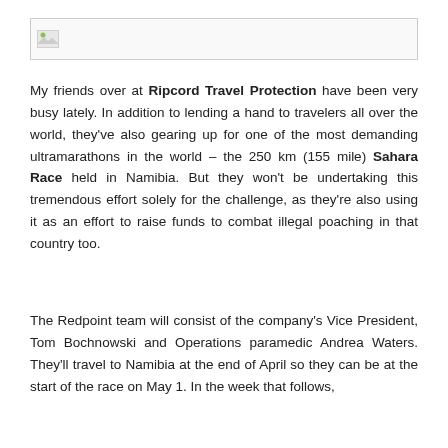[Figure (other): Broken image placeholder / banner image at top of page]
My friends over at Ripcord Travel Protection have been very busy lately. In addition to lending a hand to travelers all over the world, they've also gearing up for one of the most demanding ultramarathons in the world – the 250 km (155 mile) Sahara Race held in Namibia. But they won't be undertaking this tremendous effort solely for the challenge, as they're also using it as an effort to raise funds to combat illegal poaching in that country too.
The Redpoint team will consist of the company's Vice President, Tom Bochnowski and Operations paramedic Andrea Waters. They'll travel to Namibia at the end of April so they can be at the start of the race on May 1. In the week that follows,